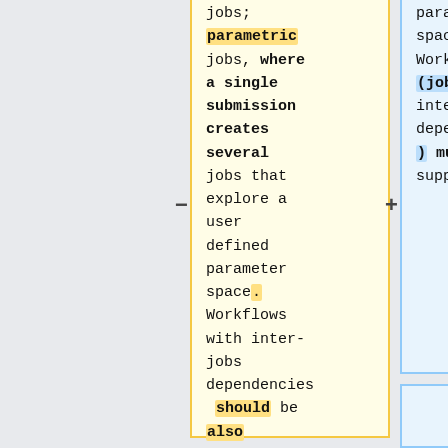jobs; parametric jobs, where a single submission creates several jobs that explore a user defined parameter space. Workflows with inter-jobs dependencies should be also supported.
parameter space) and Workflows (jobs with inter-jobs dependencies ) must be supported.